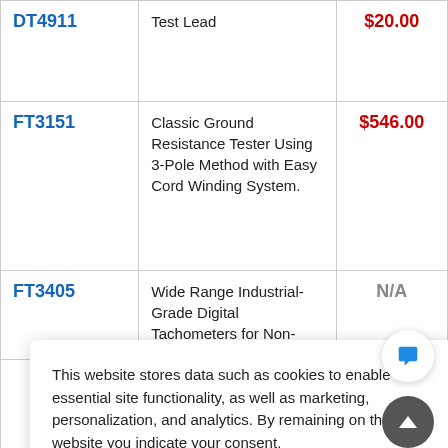| SKU | Description | Price |
| --- | --- | --- |
| DT4911 | Test Lead | $20.00 |
| FT3151 | Classic Ground Resistance Tester Using 3-Pole Method with Easy Cord Winding System. | $546.00 |
| FT3405 | Wide Range Industrial-Grade Digital Tachometers for Non- | N/A |
|  | measurements. With analog |  |
This website stores data such as cookies to enable essential site functionality, as well as marketing, personalization, and analytics. By remaining on this website you indicate your consent.

Privacy Policy